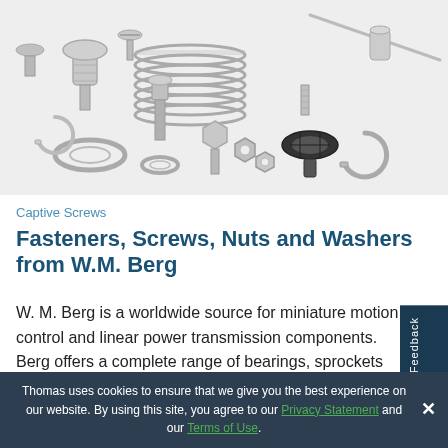[Figure (photo): Collection of metal fasteners, screws, nuts, washers, springs, retaining rings, and other miniature hardware components on a white background.]
Captive Screws
Fasteners, Screws, Nuts and Washers from W.M. Berg
W. M. Berg is a worldwide source for miniature motion control and linear power transmission components. Berg offers a complete range of bearings, sprockets and pulleys and timing belts and chains and precision spur, helical, worm and anti backlash gears offering engineers the
Thomas uses cookies to ensure that we give you the best experience on our website. By using this site, you agree to our Privacy Statement and our Terms of Use.